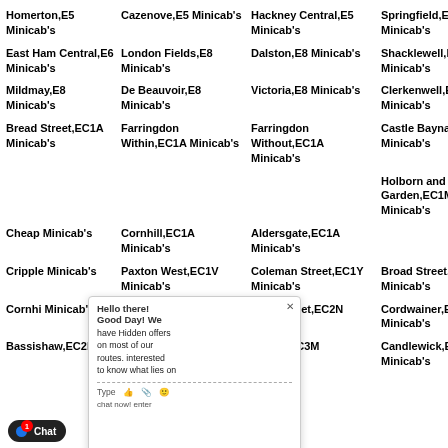Homerton,E5 Minicab's
Cazenove,E5 Minicab's
Hackney Central,E5 Minicab's
Springfield,E5 Minicab's
East Ham Central,E6 Minicab's
London Fields,E8 Minicab's
Dalston,E8 Minicab's
Shacklewell,E8 Minicab's
Mildmay,E8 Minicab's
De Beauvoir,E8 Minicab's
Victoria,E8 Minicab's
Clerkenwell,EC1 Minicab's
Bread Street,EC1A Minicab's
Farringdon Within,EC1A Minicab's
Farringdon Without,EC1A Minicab's
Castle Baynard,EC1A Minicab's
Holborn and Covent Garden,EC1M Minicab's
Cheap Minicab's
Cornhill,EC1A Minicab's
Aldersgate,EC1A Minicab's
Cripple Minicab's
Paxton West,EC1V Minicab's
Coleman Street,EC1Y Minicab's
Broad Street,EC2M Minicab's
Cornhi Minicab's
Walbrook,EC2N Minicab's
Lime Street,EC2N Minicab's
Cordwainer,EC2 Minicab's
Bassishaw,EC2P
Langbourn,EC3A
Bridge,EC3M
Candlewick,EC3 Minicab's